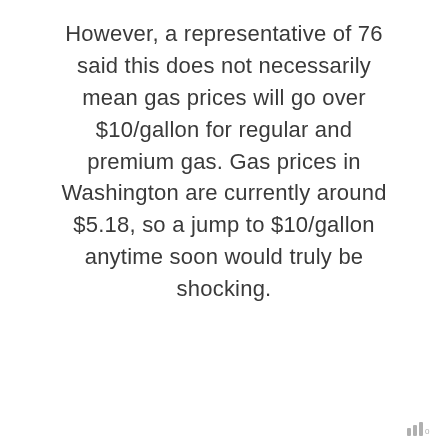However, a representative of 76 said this does not necessarily mean gas prices will go over $10/gallon for regular and premium gas. Gas prices in Washington are currently around $5.18, so a jump to $10/gallon anytime soon would truly be shocking.